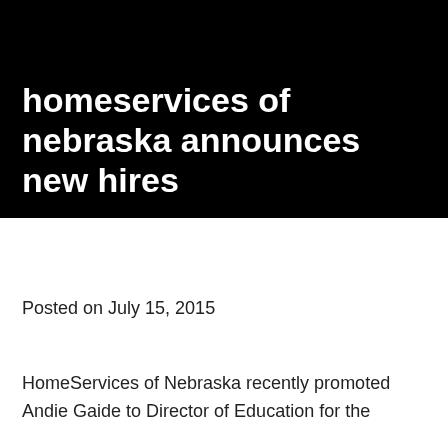[Figure (photo): Black background image serving as hero banner for the article]
homeservices of nebraska announces new hires
Posted on July 15, 2015
HomeServices of Nebraska recently promoted Andie Gaide to Director of Education for the